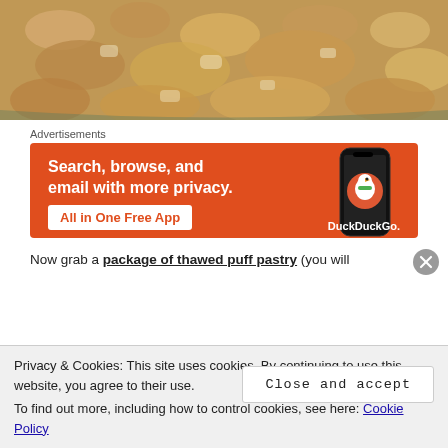[Figure (photo): Close-up photo of a food dish with crumbly brown topping in a bowl]
Advertisements
[Figure (infographic): DuckDuckGo advertisement banner: Search, browse, and email with more privacy. All in One Free App. Shows a phone with DuckDuckGo logo.]
Now grab a package of thawed puff pastry (you will
Privacy & Cookies: This site uses cookies. By continuing to use this website, you agree to their use.
To find out more, including how to control cookies, see here: Cookie Policy
Close and accept